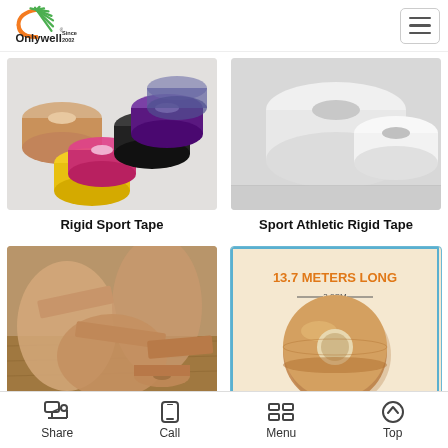Onlywell Since 2002
[Figure (photo): Colorful rolls of rigid sport tape in yellow, pink, black, purple and beige colors on white background]
Rigid Sport Tape
[Figure (photo): White rolls of sport athletic rigid tape on white background]
Sport Athletic Rigid Tape
[Figure (photo): Beige rigid sport tape being applied to foot/ankle area on wooden floor background]
[Figure (photo): Product shot of a single roll of beige rigid tape with text '13.7 METERS LONG' and '3.8CM' shown on product packaging. Blue border around image.]
Share   Call   Menu   Top